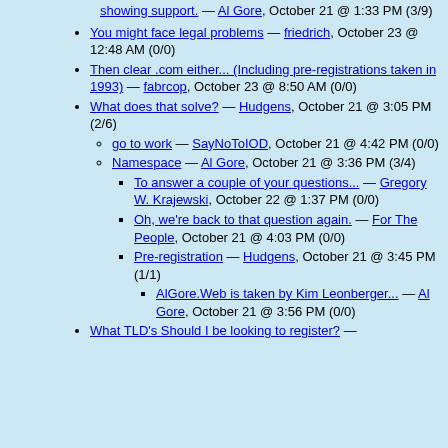showing support. — Al Gore, October 21 @ 1:33 PM (3/9)
You might face legal problems — friedrich, October 23 @ 12:48 AM (0/0)
Then clear .com either... (Including pre-registrations taken in 1993) — fabrcop, October 23 @ 8:50 AM (0/0)
What does that solve? — Hudgens, October 21 @ 3:05 PM (2/6)
go to work — SayNoToIOD, October 21 @ 4:42 PM (0/0)
Namespace — Al Gore, October 21 @ 3:36 PM (3/4)
To answer a couple of your questions... — Gregory W. Krajewski, October 22 @ 1:37 PM (0/0)
Oh, we're back to that question again. — For The People, October 21 @ 4:03 PM (0/0)
Pre-registration — Hudgens, October 21 @ 3:45 PM (1/1)
AlGore.Web is taken by Kim Leonberger... — Al Gore, October 21 @ 3:56 PM (0/0)
What TLD's Should I be looking to register? —